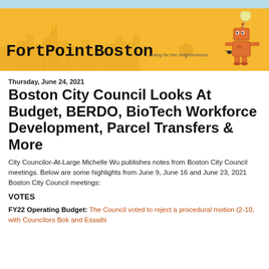FortPointBoston — a blog for the neighborhood
Thursday, June 24, 2021
Boston City Council Looks At Budget, BERDO, BioTech Workforce Development, Parcel Transfers & More
City Councilor-At-Large Michelle Wu publishes notes from Boston City Council meetings. Below are some highlights from June 9, June 16 and June 23, 2021 Boston City Council meetings:
VOTES
FY22 Operating Budget: The Council voted to reject a procedural motion (2-10, with Councilors Bok and Essaibi